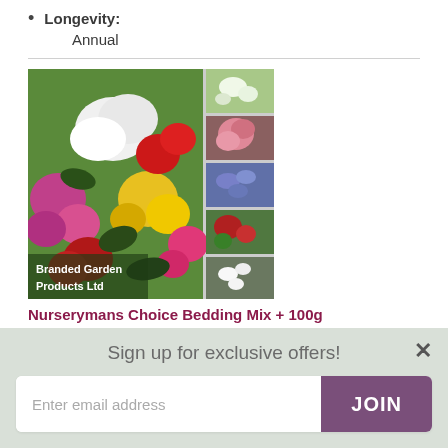Longevity: Annual
[Figure (photo): Colorful bedding flowers mix including begonias in pink, red, yellow, white; small grid of additional flower varieties on the right. Text overlay: Branded Garden Products Ltd]
Nurserymans Choice Bedding Mix + 100g incredibloom® +
Sign up for exclusive offers!
Enter email address
JOIN